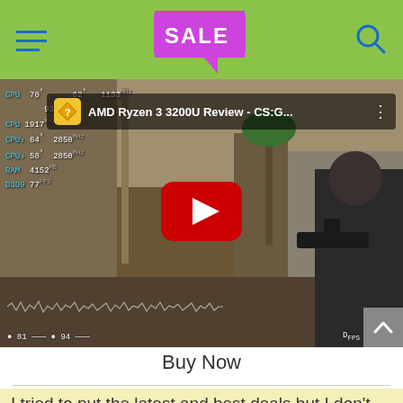SALE
[Figure (screenshot): YouTube video thumbnail showing AMD Ryzen 3 3200U Review CS:GO gameplay with HWiNFO overlay showing GPU 70°, 62°, 1133MHz, 933, CPU readings 1917, 2850, 2850, RAM 4152, D3D9 77, FPS 81 and 94, red YouTube play button in center]
Buy Now
I tried to put the latest and best deals but I don't